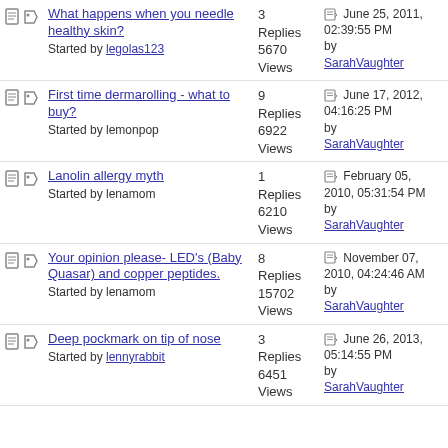What happens when you needle healthy skin? Started by legolas123 | 3 Replies 5670 Views | June 25, 2011, 02:39:55 PM by SarahVaughter
First time dermarolling - what to buy? Started by lemonpop | 9 Replies 6922 Views | June 17, 2012, 04:16:25 PM by SarahVaughter
Lanolin allergy myth Started by lenamom | 1 Replies 6210 Views | February 05, 2010, 05:31:54 PM by SarahVaughter
Your opinion please- LED's (Baby Quasar) and copper peptides. Started by lenamom | 8 Replies 15702 Views | November 07, 2010, 04:24:46 AM by SarahVaughter
Deep pockmark on tip of nose Started by lennyrabbit | 3 Replies 6451 Views | June 26, 2013, 05:14:55 PM by SarahVaughter